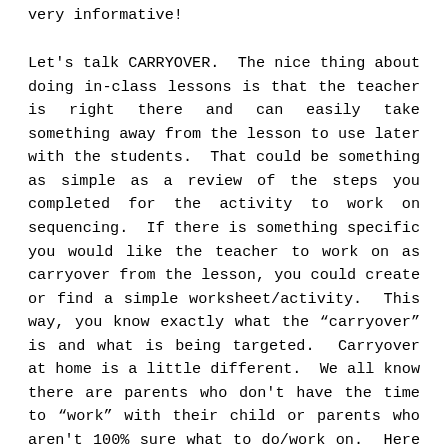very informative!
Let's talk CARRYOVER.  The nice thing about doing in-class lessons is that the teacher is right there and can easily take something away from the lesson to use later with the students.  That could be something as simple as a review of the steps you completed for the activity to work on sequencing.  If there is something specific you would like the teacher to work on as carryover from the lesson, you could create or find a simple worksheet/activity.  This way, you know exactly what the "carryover" is and what is being targeted.  Carryover at home is a little different.  We all know there are parents who don't have the time to "work" with their child or parents who aren't 100% sure what to do/work on.  Here is a good tip:  Take 1 goal from your in-class activity and turn THAT into your very simple, straightforward carryover.  Let's be honest, children